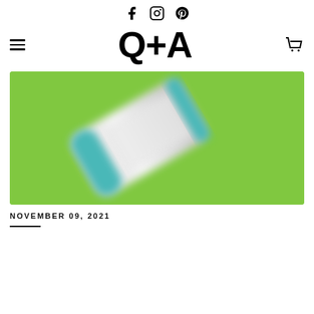Social media icons: Facebook, Instagram, Pinterest
Q+A
[Figure (photo): A white skincare product bottle with teal/green accent band, lying at an angle on a bright green background. The image is slightly blurred/soft focus.]
NOVEMBER 09, 2021